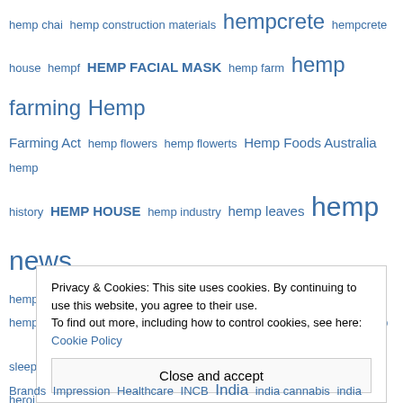hemp chai hemp construction materials hempcrete hempcrete house hempf HEMP FACIAL MASK hemp farm hemp farming Hemp Farming Act hemp flowers hemp flowerts Hemp Foods Australia hemp history HEMP HOUSE hemp industry hemp leaves hemp news hemp news hemp news jamaica hemp news uk hemp oil hemp phytoremediation hempseed hemp seed hempseed oil Hemp Shiv hemp skincare hemp sleeper HempTank hemp uk herbalist herbs heroin Herojuana Hexo Hexo Corp he's improving every week and making progress HGH Seed Hi-Fi Hops HIGH DRIVE high society High Times HIGH TIMES CANNABIS CUP Hikurangi Enterprises Hikurangi Hemp Hindu his mother Charlotte told the Irish Independent: "Billy is doing absolutely incredible HISTORY HIV Ho Karan Holland Holland &
Privacy & Cookies: This site uses cookies. By continuing to use this website, you agree to their use.
To find out more, including how to control cookies, see here: Cookie Policy
Close and accept
Brands Impression Healthcare INCB India india cannabis india